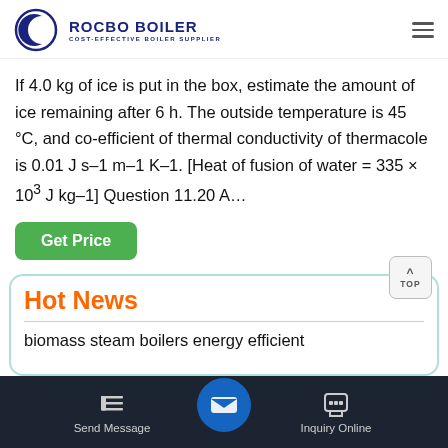[Figure (logo): Rocbo Boiler logo with crescent moon/C shape icon, text ROCBO BOILER and COST-EFFECTIVE BOILER SUPPLIER]
If 4.0 kg of ice is put in the box, estimate the amount of ice remaining after 6 h. The outside temperature is 45 °C, and co-efficient of thermal conductivity of thermacole is 0.01 J s–1 m–1 K–1. [Heat of fusion of water = 335 × 103 J kg–1] Question 11.20 A...
Get Price
Hot News
biomass steam boilers energy efficient